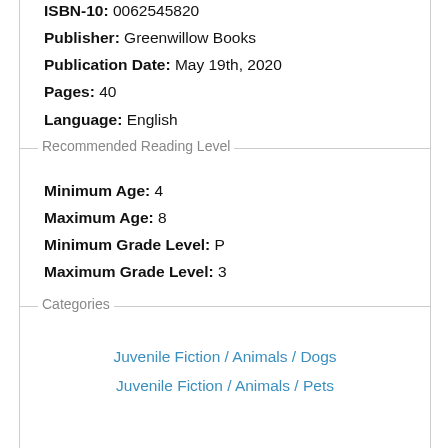ISBN-10: 0062545820
Publisher: Greenwillow Books
Publication Date: May 19th, 2020
Pages: 40
Language: English
Recommended Reading Level
Minimum Age: 4
Maximum Age: 8
Minimum Grade Level: P
Maximum Grade Level: 3
Categories
Juvenile Fiction / Animals / Dogs
Juvenile Fiction / Animals / Pets